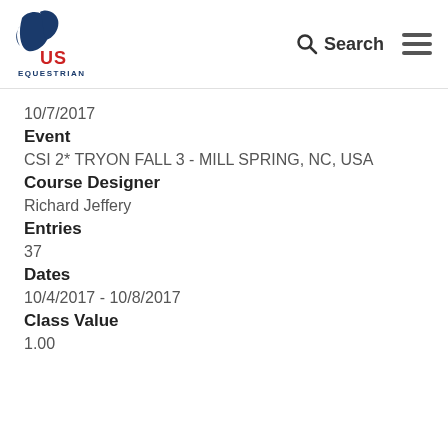US Equestrian logo, Search, Menu
10/7/2017
Event
CSI 2* TRYON FALL 3 - MILL SPRING, NC, USA
Course Designer
Richard Jeffery
Entries
37
Dates
10/4/2017 - 10/8/2017
Class Value
1.00